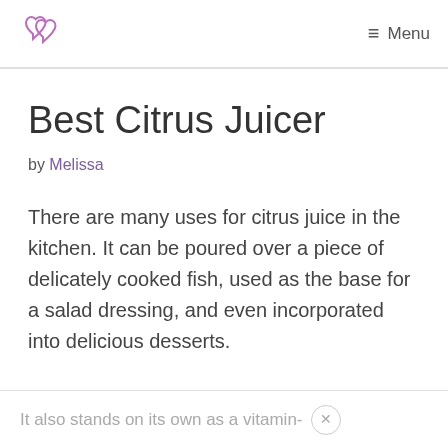Menu
Best Citrus Juicer
by Melissa
There are many uses for citrus juice in the kitchen. It can be poured over a piece of delicately cooked fish, used as the base for a salad dressing, and even incorporated into delicious desserts.
It also stands on its own as a vitamin-